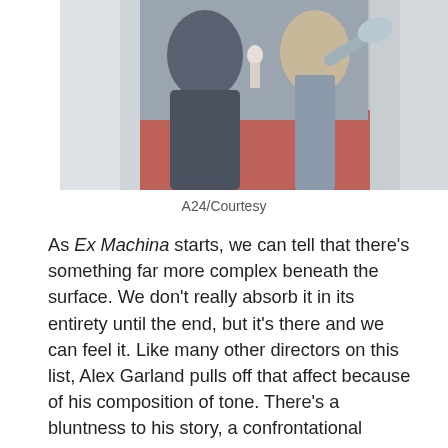[Figure (photo): Scene from Ex Machina film showing two figures in profile, one appearing to be the AI character Ava with a robotic hand raised near the other figure's face, set in a corridor with a red carpet]
A24/Courtesy
As Ex Machina starts, we can tell that there’s something far more complex beneath the surface. We don’t really absorb it in its entirety until the end, but it’s there and we can feel it. Like many other directors on this list, Alex Garland pulls off that affect because of his composition of tone. There’s a bluntness to his story, a confrontational honesty within Oscar Isaac’s Nathan juxtaposed next to a startlingly direct tenderness in Alicia Vikander’s AI Ava. But that’s all for manipulation. Garland places us, the audience, in our very own Turing test alongside Domhnall Gleeson’s Caleb. He positions